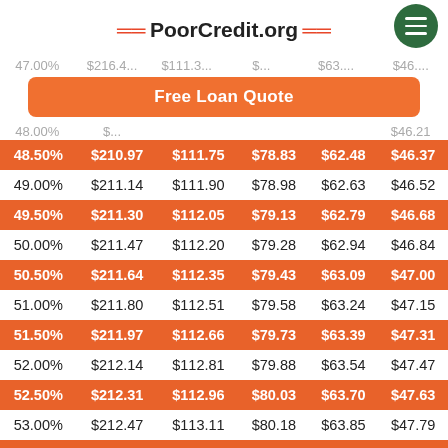PoorCredit.org
Free Loan Quote
| Rate | 12 mo | 24 mo | 36 mo | 48 mo | 60 mo |
| --- | --- | --- | --- | --- | --- |
| 48.50% | $210.97 | $111.75 | $78.83 | $62.48 | $46.37 |
| 49.00% | $211.14 | $111.90 | $78.98 | $62.63 | $46.52 |
| 49.50% | $211.30 | $112.05 | $79.13 | $62.79 | $46.68 |
| 50.00% | $211.47 | $112.20 | $79.28 | $62.94 | $46.84 |
| 50.50% | $211.64 | $112.35 | $79.43 | $63.09 | $47.00 |
| 51.00% | $211.80 | $112.51 | $79.58 | $63.24 | $47.15 |
| 51.50% | $211.97 | $112.66 | $79.73 | $63.39 | $47.31 |
| 52.00% | $212.14 | $112.81 | $79.88 | $63.54 | $47.47 |
| 52.50% | $212.31 | $112.96 | $80.03 | $63.70 | $47.63 |
| 53.00% | $212.47 | $113.11 | $80.18 | $63.85 | $47.79 |
| 53.50% | $212.64 | $113.27 | $80.33 | $64.00 | $47.95 |
| 54.00% | $212.81 | $113.42 | $80.48 | $64.15 | $48.11 |